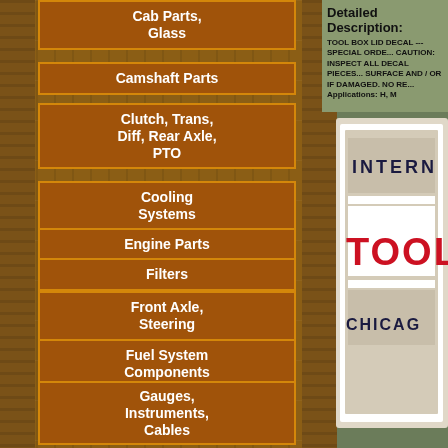Cab Parts, Glass
Camshaft Parts
Clutch, Trans, Diff, Rear Axle, PTO
Cooling Systems
Engine Parts
Filters
Front Axle, Steering
Fuel System Components
Gauges, Instruments, Cables
Hitch and Implement Components
Hoods, Grilles, Decals
Detailed Description:
TOOL BOX LID DECAL --- SPECIAL ORDE... CAUTION: INSPECT ALL DECAL PIECES... SURFACE AND / OR IF DAMAGED. NO RE... Applications: H, M
[Figure (photo): Tool box lid decal showing INTERNATIONAL TOOL BOX CHICAGO text on a rectangular decal with grey and white sections]